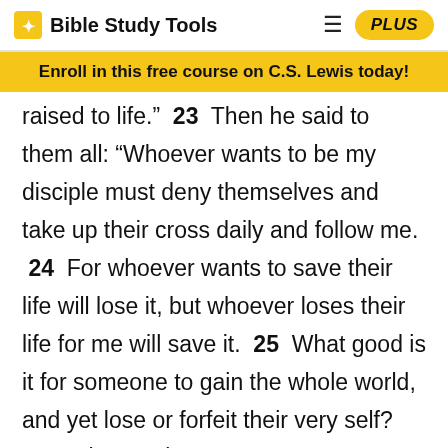Bible Study Tools | PLUS
Enroll in this free course on C.S. Lewis today!
raised to life.” 23 Then he said to them all: “Whoever wants to be my disciple must deny themselves and take up their cross daily and follow me. 24 For whoever wants to save their life will lose it, but whoever loses their life for me will save it. 25 What good is it for someone to gain the whole world, and yet lose or forfeit their very self? 26 Whoever is